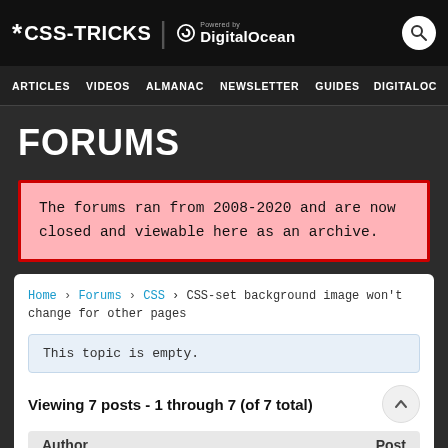* CSS-TRICKS | Powered by DigitalOcean
ARTICLES  VIDEOS  ALMANAC  NEWSLETTER  GUIDES  DIGITALOC
FORUMS
The forums ran from 2008-2020 and are now closed and viewable here as an archive.
Home › Forums › CSS › CSS-set background image won't change for other pages
This topic is empty.
Viewing 7 posts - 1 through 7 (of 7 total)
Author  Post